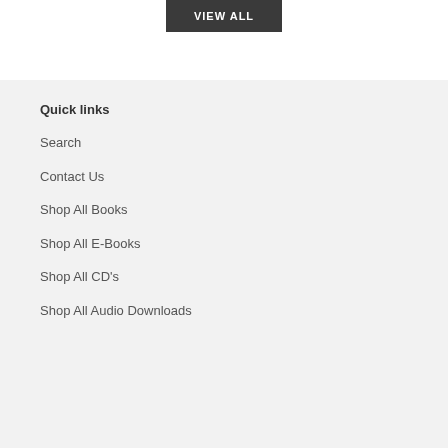[Figure (other): VIEW ALL button — dark gray rectangular button with white uppercase bold text]
Quick links
Search
Contact Us
Shop All Books
Shop All E-Books
Shop All CD's
Shop All Audio Downloads